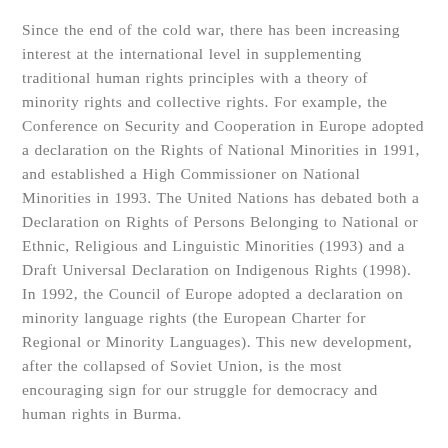Since the end of the cold war, there has been increasing interest at the international level in supplementing traditional human rights principles with a theory of minority rights and collective rights. For example, the Conference on Security and Cooperation in Europe adopted a declaration on the Rights of National Minorities in 1991, and established a High Commissioner on National Minorities in 1993. The United Nations has debated both a Declaration on Rights of Persons Belonging to National or Ethnic, Religious and Linguistic Minorities (1993) and a Draft Universal Declaration on Indigenous Rights (1998). In 1992, the Council of Europe adopted a declaration on minority language rights (the European Charter for Regional or Minority Languages). This new development, after the collapsed of Soviet Union, is the most encouraging sign for our struggle for democracy and human rights in Burma.